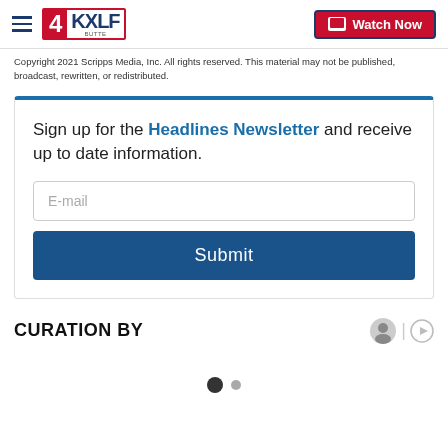4KXLF BUTTE | Watch Now
Copyright 2021 Scripps Media, Inc. All rights reserved. This material may not be published, broadcast, rewritten, or redistributed.
Sign up for the Headlines Newsletter and receive up to date information.
CURATION BY